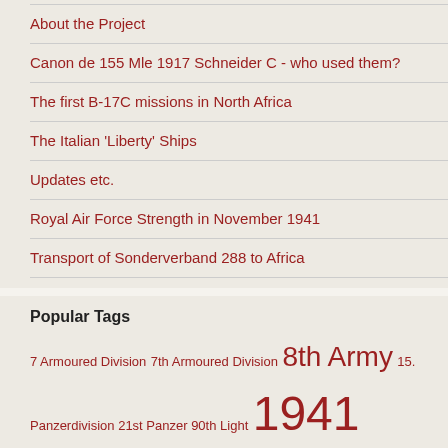About the Project
Canon de 155 Mle 1917 Schneider C - who used them?
The first B-17C missions in North Africa
The Italian 'Liberty' Ships
Updates etc.
Royal Air Force Strength in November 1941
Transport of Sonderverband 288 to Africa
Popular Tags
7 Armoured Division  7th Armoured Division  8th Army  15. Panzerdivision  21st Panzer  90th Light  1941  1942  Afrika Korps  afrikakorps  AIF  Air  air attack  Air War  Ariete division  armoured warfare  Artillery  Axis forces  Books  Commonwealth forces